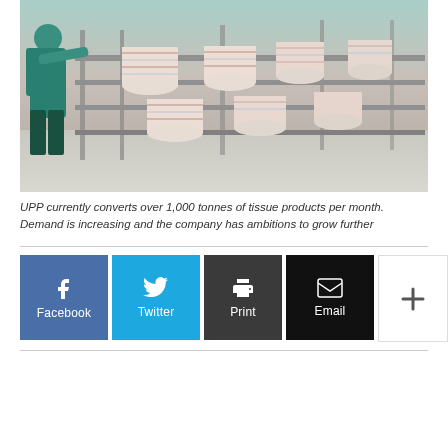[Figure (photo): Factory worker in green scrubs standing next to a conveyor line of rolled tissue/paper products on metal racks in a manufacturing facility]
UPP currently converts over 1,000 tonnes of tissue products per month. Demand is increasing and the company has ambitions to grow further
Facebook | Twitter | Print | Email | (more)